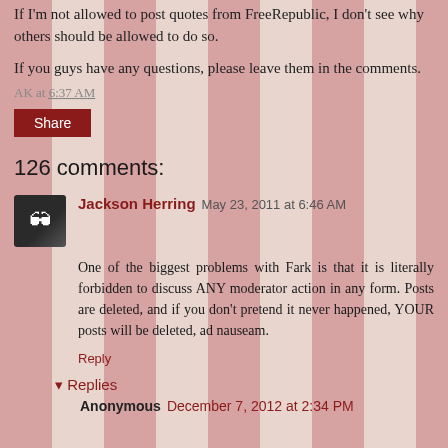If I'm not allowed to post quotes from FreeRepublic, I don't see why others should be allowed to do so.
If you guys have any questions, please leave them in the comments.
AK at 6:37 AM
Share
126 comments:
Jackson Herring May 23, 2011 at 6:46 AM
One of the biggest problems with Fark is that it is literally forbidden to discuss ANY moderator action in any form. Posts are deleted, and if you don't pretend it never happened, YOUR posts will be deleted, ad nauseam.
Reply
Replies
Anonymous December 7, 2012 at 2:34 PM